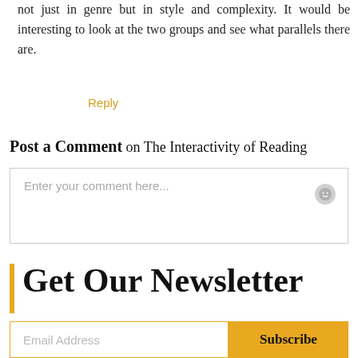not just in genre but in style and complexity. It would be interesting to look at the two groups and see what parallels there are.
Reply
Post a Comment on The Interactivity of Reading
Enter your comment here...
Get Our Newsletter
Email Address
Subscribe